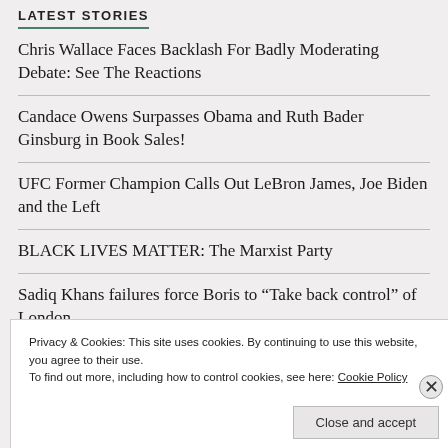LATEST STORIES
Chris Wallace Faces Backlash For Badly Moderating Debate: See The Reactions
Candace Owens Surpasses Obama and Ruth Bader Ginsburg in Book Sales!
UFC Former Champion Calls Out LeBron James, Joe Biden and the Left
BLACK LIVES MATTER: The Marxist Party
Sadiq Khans failures force Boris to “Take back control” of London
Privacy & Cookies: This site uses cookies. By continuing to use this website, you agree to their use.
To find out more, including how to control cookies, see here: Cookie Policy
Close and accept